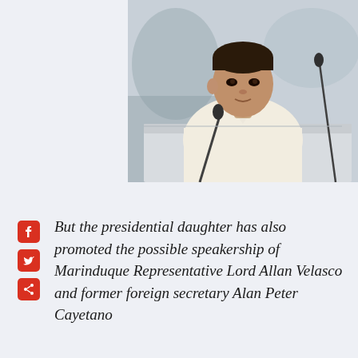[Figure (photo): A man in a white shirt seated at what appears to be a podium or desk, with microphones visible, in a formal setting with blurred background audience]
But the presidential daughter has also promoted the possible speakership of Marinduque Representative Lord Allan Velasco and former foreign secretary Alan Peter Cayetano